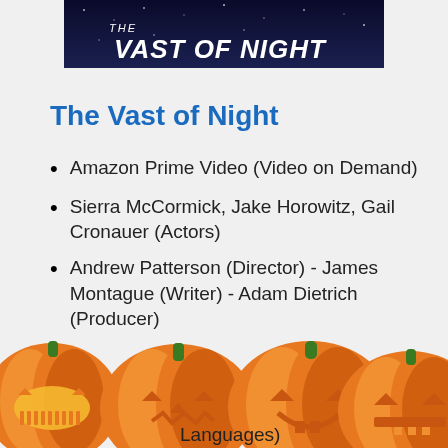[Figure (screenshot): Banner image with text 'THE VAST OF NIGHT' on a dark starfield background]
The Vast of Night
Amazon Prime Video (Video on Demand)
Sierra McCormick, Jake Horowitz, Gail Cronauer (Actors)
Andrew Patterson (Director) - James Montague (Writer) - Adam Dietrich (Producer)
[Figure (illustration): Row of five jack-o-lantern pumpkins with various carved faces along the bottom of the page]
Languages)